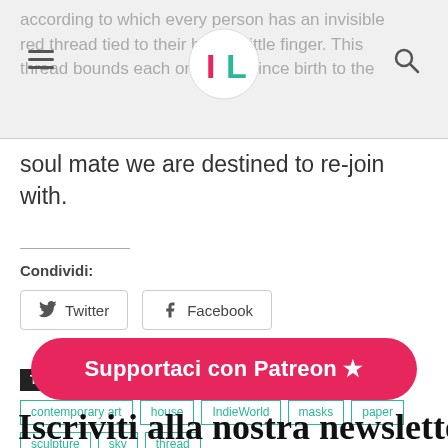according to which every person has an invisible red thread tied to their hand's little finger. This thread bounds each one of us since birth to the soul mate we are destined to re-join with.
soul mate we are destined to re-join with.
Condividi:
Twitter
Facebook
TAGS: arte, Beatrice Spadea, beyond limits, contemporary art, house, IndieWorld, masks, paper, sculpture, sky, thread
Supportaci con Patreon ★
Iscriviti alla nostra newsletter